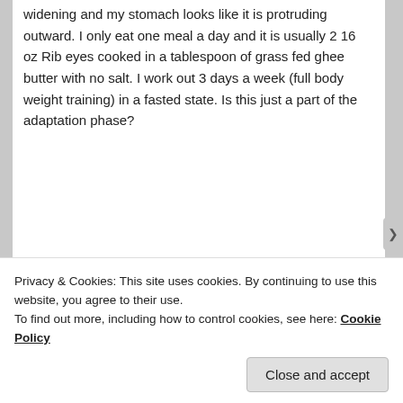widening and my stomach looks like it is protruding outward. I only eat one meal a day and it is usually 2 16 oz Rib eyes cooked in a tablespoon of grass fed ghee butter with no salt. I work out 3 days a week (full body weight training) in a fasted state. Is this just a part of the adaptation phase?
★ Like
Reply ↓
esmeelafleur on May 14, 2018 at 5:01 PM said:
Privacy & Cookies: This site uses cookies. By continuing to use this website, you agree to their use.
To find out more, including how to control cookies, see here: Cookie Policy
Close and accept